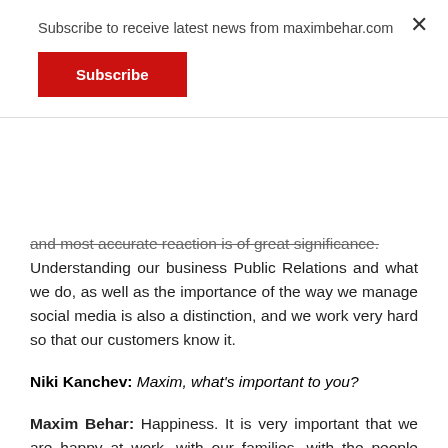Subscribe to receive latest news from maximbehar.com
Subscribe
and most accurate reaction is of great significance. Understanding our business Public Relations and what we do, as well as the importance of the way we manage social media is also a distinction, and we work very hard so that our customers know it.
Niki Kanchev: Maxim, what’s important to you?
Maxim Behar: Happiness. It is very important that we are happy at work, with our families, with the people who surround us, with those who we share our most precious time. It seems to me that if a person is not happy, it can’t do anything. It cannot be useful to itself or the people around and society in general. Of course, what you leave behind is essential. I’ll repeat my words: A great leader is the one who creates new leaders. When I see so many of my colleagues with whom I work taking independent and professional decisions, having in mind that with some of them I have been working for 15 years of my life...